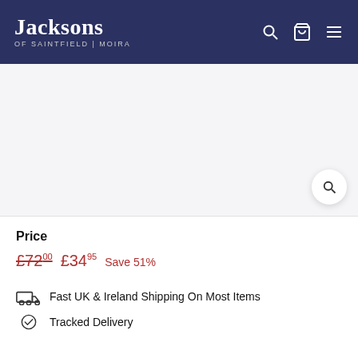Jacksons OF SAINTFIELD | MOIRA
[Figure (screenshot): Product image area (white/light grey background, no product visible), with a search magnifier bubble in bottom right corner]
Price
£72.00  £34.95  Save 51%
Fast UK & Ireland Shipping On Most Items
Tracked Delivery